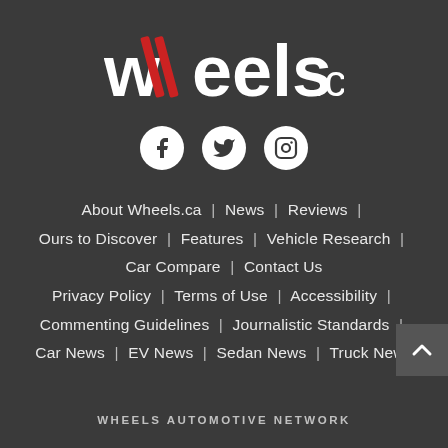[Figure (logo): wheels.ca logo with red double-slash stylized 'w' and white text on dark background]
[Figure (infographic): Three social media icons: Facebook, Twitter, Instagram as white circles on dark background]
About Wheels.ca | News | Reviews | Ours to Discover | Features | Vehicle Research | Car Compare | Contact Us
Privacy Policy | Terms of Use | Accessibility | Commenting Guidelines | Journalistic Standards | Car News | EV News | Sedan News | Truck News
WHEELS AUTOMOTIVE NETWORK